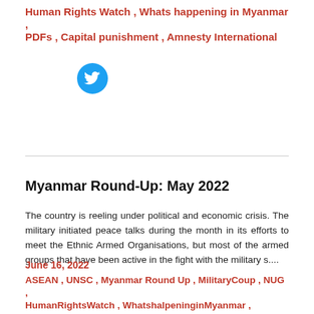Human Rights Watch , Whats happening in Myanmar , PDFs , Capital punishment , Amnesty International
[Figure (logo): Twitter bird logo icon, blue circle with white bird]
Myanmar Round-Up: May 2022
The country is reeling under political and economic crisis. The military initiated peace talks during the month in its efforts to meet the Ethnic Armed Organisations, but most of the armed groups that have been active in the fight with the military s....
June 16, 2022
ASEAN , UNSC , Myanmar Round Up , MilitaryCoup , NUG , HumanRightsWatch , WhatshalpeninginMyanmar , fuelcrisis , PDFs